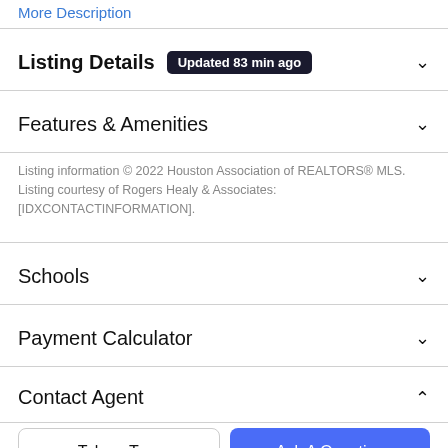More Description
Listing Details  Updated 83 min ago
Features & Amenities
Listing information © 2022 Houston Association of REALTORS® MLS. Listing courtesy of Rogers Healy & Associates: [IDXCONTACTINFORMATION].
Schools
Payment Calculator
Contact Agent
Take a Tour
Ask A Question